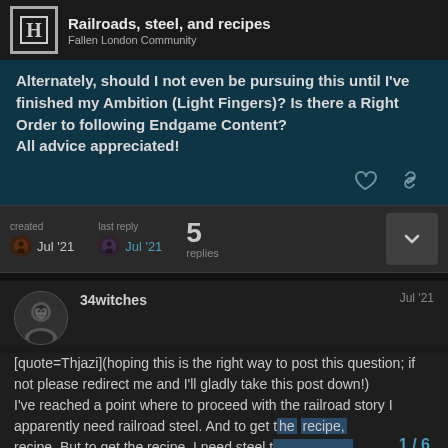Railroads, steel, and recipes — Fallen London Community
Alternately, should I not even be pursuing this until I've finished my Ambition (Light Fingers)? Is there a Right Order to following Endgame Content?
All advice appreciated!
created Jul '21   last reply Jul '21   5 replies
34witches   Jul '21
[quote=Thjazi](hoping this is the right way to post this question; if not please redirect me and I'll gladly take this post down!)
I've reached a point where to proceed with the railroad story I apparently need railroad steel. And to get t... recipe. But to get the recipe, I need steel t...
1 / 6